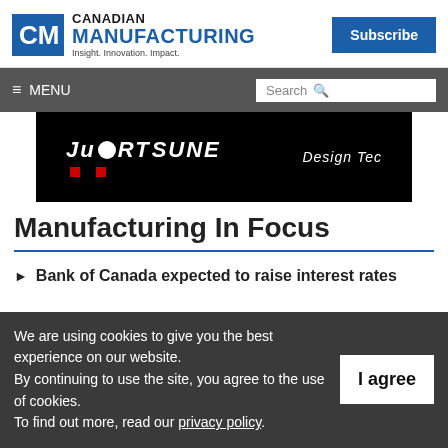Canadian Manufacturing — Insight. Innovation. Impact. | Subscribe
≡ MENU | Search
[Figure (screenshot): Dark banner image showing 'JuCRTSUNE' logo text with red squares and 'Design Tec' text on black background]
Manufacturing In Focus
Bank of Canada expected to raise interest rates
We are using cookies to give you the best experience on our website.
By continuing to use the site, you agree to the use of cookies.
To find out more, read our privacy policy.